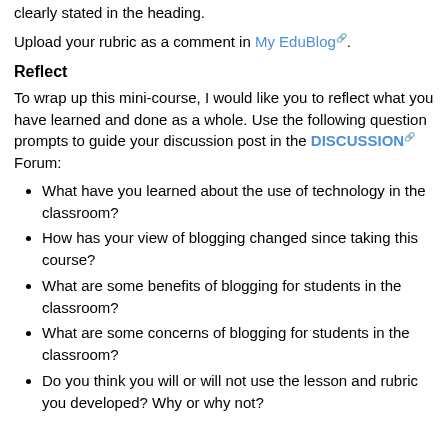clearly stated in the heading.
Upload your rubric as a comment in My EduBlog.
Reflect
To wrap up this mini-course, I would like you to reflect what you have learned and done as a whole. Use the following question prompts to guide your discussion post in the DISCUSSION Forum:
What have you learned about the use of technology in the classroom?
How has your view of blogging changed since taking this course?
What are some benefits of blogging for students in the classroom?
What are some concerns of blogging for students in the classroom?
Do you think you will or will not use the lesson and rubric you developed? Why or why not?